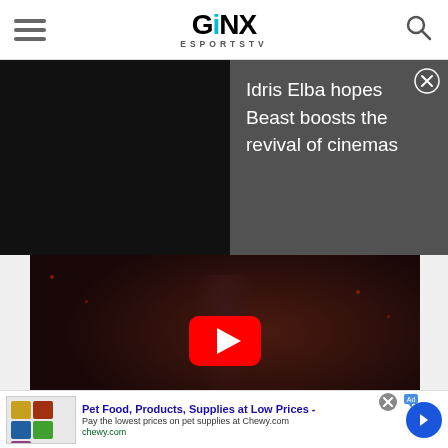[Figure (logo): GINX Esports TV logo with hamburger menu icon on left and search icon on right]
[Figure (screenshot): Dark notification/overlay showing half black panel on left and grey panel on right with text 'Idris Elba hopes Beast boosts the revival of cinemas' with close button]
Idris Elba hopes Beast boosts the revival of cinemas
[Figure (screenshot): YouTube video thumbnail for 'Lethal Black Widow Playable at Launch' showing a female character in black suit with red YouTube play button overlay]
[Figure (screenshot): Advertisement banner for Chewy.com: 'Pet Food, Products, Supplies at Low Prices - Pay the lowest prices on pet supplies at Chewy.com']
Pet Food, Products, Supplies at Low Prices -
Pay the lowest prices on pet supplies at Chewy.com
chewy.com